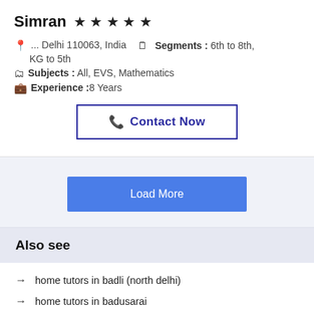Simran ★★★★★
... Delhi 110063, India   Segments : 6th to 8th, KG to 5th
Subjects : All, EVS, Mathematics
Experience :8 Years
Contact Now
Load More
Also see
home tutors in badli (north delhi)
home tutors in badusarai
home tutors in bagdola
home tutors in bakhtawar pur